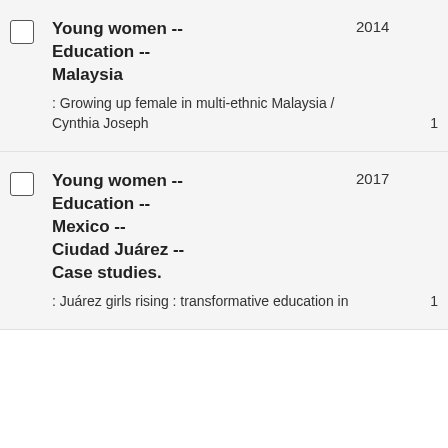Young women -- Education -- Malaysia : Growing up female in multi-ethnic Malaysia / Cynthia Joseph
Young women -- Education -- Mexico -- Ciudad Juárez -- Case studies. : Juárez girls rising : transformative education in